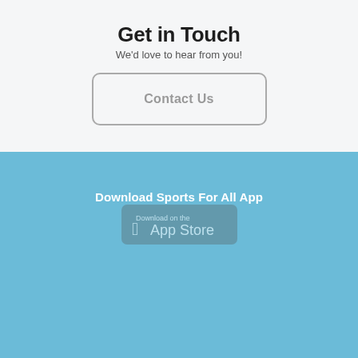Get in Touch
We’d love to hear from you!
Contact Us
Download Sports For All App
[Figure (logo): Download on the App Store badge]